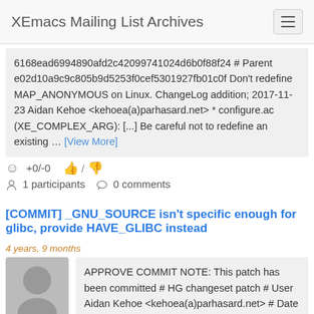XEmacs Mailing List Archives
6168ead6994890afd2c42099741024d6b0f88f24 # Parent e02d10a9c9c805b9d5253f0cef5301927fb01c0f Don't redefine MAP_ANONYMOUS on Linux. ChangeLog addition; 2017-11-23 Aidan Kehoe <kehoea(a)parhasard.net> * configure.ac (XE_COMPLEX_ARG): [...] Be careful not to redefine an existing … [View More]
+0/-0  1 participants  0 comments
[COMMIT] _GNU_SOURCE isn't specific enough for glibc, provide HAVE_GLIBC instead  4 years, 9 months
APPROVE COMMIT NOTE: This patch has been committed # HG changeset patch # User Aidan Kehoe <kehoea(a)parhasard.net> # Date 1511418088 0 # Thu Nov 23 06:21:28 2017 +0000